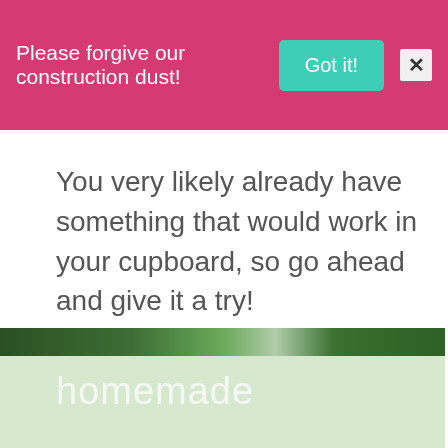Please forgive our construction dust!
You very likely already have something that would work in your cupboard, so go ahead and give it a try!
[Figure (photo): Bottom portion of page showing a dark green strip at the top transitioning to a light green area below, with the text 'homemade' overlaid in light-colored large font.]